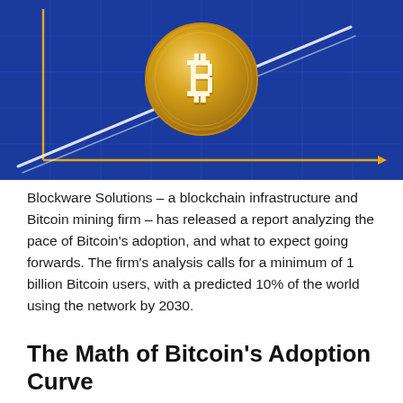[Figure (illustration): Blue grid background with golden axes forming a chart frame. A large gold Bitcoin coin is centered in the upper area. A white diagonal line (representing adoption curve growth) rises from lower left to upper right through the coin. An orange horizontal arrow points right along the x-axis.]
Blockware Solutions – a blockchain infrastructure and Bitcoin mining firm – has released a report analyzing the pace of Bitcoin's adoption, and what to expect going forwards. The firm's analysis calls for a minimum of 1 billion Bitcoin users, with a predicted 10% of the world using the network by 2030.
The Math of Bitcoin's Adoption Curve